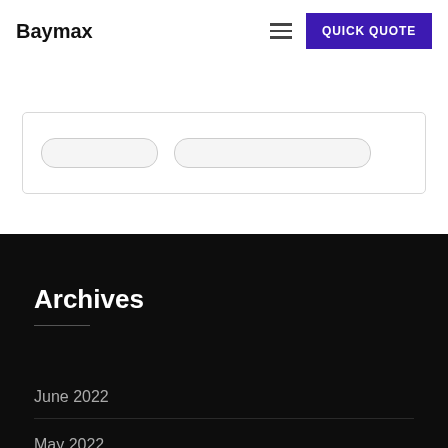Baymax
[Figure (screenshot): Partial card/widget with two pill-shaped UI elements visible at the top of the white content area]
Archives
June 2022
May 2022
April 2022